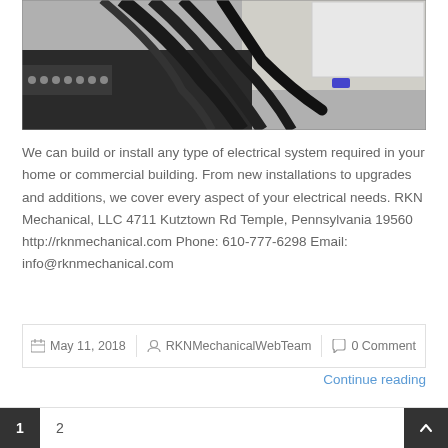[Figure (photo): Photo of electrical cables and wiring components on a dark surface with a white box/panel in the background]
We can build or install any type of electrical system required in your home or commercial building. From new installations to upgrades and additions, we cover every aspect of your electrical needs. RKN Mechanical, LLC 4711 Kutztown Rd Temple, Pennsylvania 19560 http://rknmechanical.com Phone: 610-777-6298 Email: info@rknmechanical.com
May 11, 2018   RKNMechanicalWebTeam   0 Comment
Continue reading
1  2